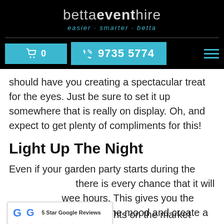[Figure (logo): Betta Event Hire logo with tagline 'easier smarter betta' on black background]
Cart 0 | 9735 5774
should have you creating a spectacular treat for the eyes. Just be sure to set it up somewhere that is really on display. Oh, and expect to get plenty of compliments for this!
Light Up The Night
Even if your garden party starts during the [day,] there is every chance that it will [last into the] wee hours. This gives you the opportunity to change the mood and create a sense of fairytale magic.
[Figure (screenshot): Google 5 Star Google Reviews widget with stars and Read More button]
There are all sorts of lights on the market